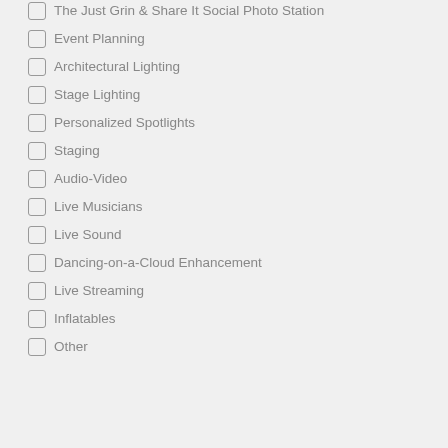The Just Grin & Share It Social Photo Station
Event Planning
Architectural Lighting
Stage Lighting
Personalized Spotlights
Staging
Audio-Video
Live Musicians
Live Sound
Dancing-on-a-Cloud Enhancement
Live Streaming
Inflatables
Other